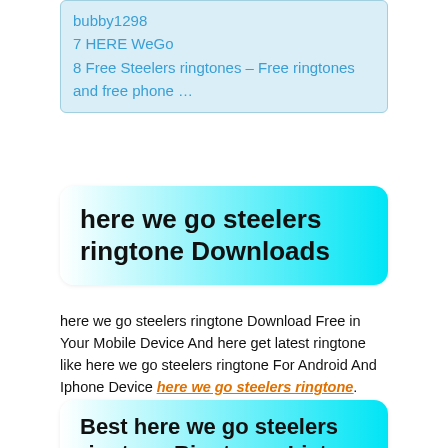bubby1298
7 HERE WeGo
8 Free Steelers ringtones – Free ringtones and free phone …
here we go steelers ringtone Downloads
here we go steelers ringtone Download Free in Your Mobile Device And here get latest ringtone like here we go steelers ringtone For Android And Iphone Device here we go steelers ringtone.
Best here we go steelers ringtone Ringtones List